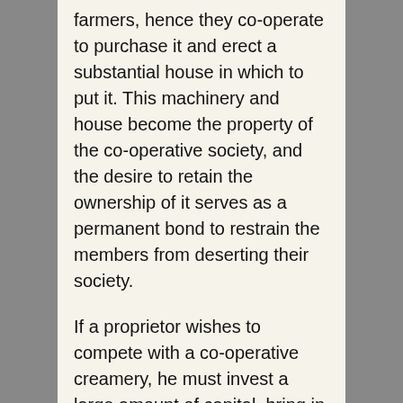farmers, hence they co-operate to purchase it and erect a substantial house in which to put it. This machinery and house become the property of the co-operative society, and the desire to retain the ownership of it serves as a permanent bond to restrain the members from deserting their society.
If a proprietor wishes to compete with a co-operative creamery, he must invest a large amount of capital, bring in similar expensive machinery, and erect a similar building. Hence it is difficult to begin competition with a co-operative creamery, and the issue is doubtful.
In addition to this a co-operative